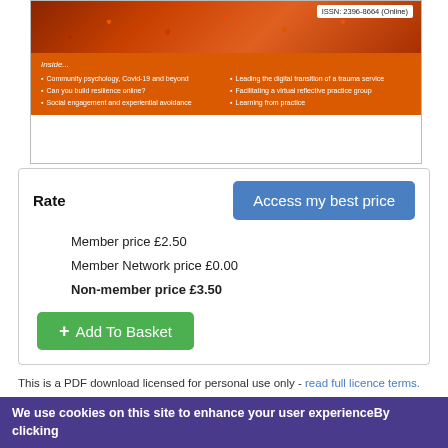[Figure (illustration): Journal cover for Clinical Psychology Forum with orange background, autumn leaves photo at top, ISSN 2396-8664 (Online), and inside article list]
Rate
Access my best price
Member price £2.50
Member Network price £0.00
Non-member price £3.50
+ Add To Basket
This is a PDF download licensed for personal use only - read full licence terms.
By placing your order you agree to the British Psychological Society's Terms and Conditions. Please also see our Privacy Notice and Cookies Information.
Clinical Psychology Forum is designed to serve as a discussion forum for any issues of relevance to clinical psychologists, with articles, reports of events, correspondence, book reviews and announcements.
We use cookies on this site to enhance your user experienceBy clicking